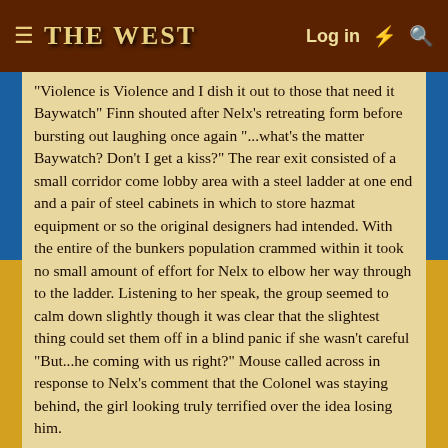≡  THE WEST    Log in  ⚡  🔍
"Violence is Violence and I dish it out to those that need it Baywatch" Finn shouted after Nelx's retreating form before bursting out laughing once again "...what's the matter Baywatch? Don't I get a kiss?" The rear exit consisted of a small corridor come lobby area with a steel ladder at one end and a pair of steel cabinets in which to store hazmat equipment or so the original designers had intended. With the entire of the bunkers population crammed within it took no small amount of effort for Nelx to elbow her way through to the ladder. Listening to her speak, the group seemed to calm down slightly though it was clear that the slightest thing could set them off in a blind panic if she wasn't careful "But...he coming with us right?" Mouse called across in response to Nelx's comment that the Colonel was staying behind, the girl looking truly terrified over the idea losing him.
Once she had finished speaking to those within the room and ascended the ladder; the snickering below her telling her that Finn was more than enjoying the view as he followed her, she would come to a heavy steel trap door. Working the mechanism she would emerge out into open park land with the dark and fog hiding the bunkers main entrance completely from view "Where are we headed Nelx?" Mickey asked once he'd emerged from the trapdoor, his voice barely louder